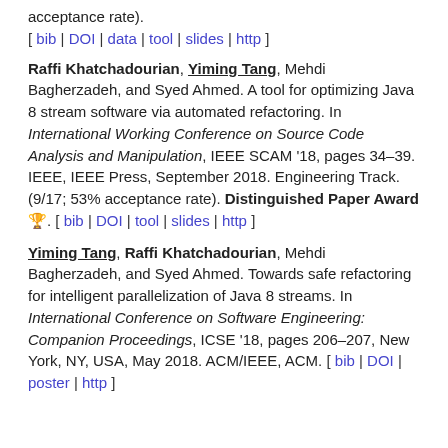acceptance rate).
[ bib | DOI | data | tool | slides | http ]
Raffi Khatchadourian, Yiming Tang, Mehdi Bagherzadeh, and Syed Ahmed. A tool for optimizing Java 8 stream software via automated refactoring. In International Working Conference on Source Code Analysis and Manipulation, IEEE SCAM '18, pages 34–39. IEEE, IEEE Press, September 2018. Engineering Track. (9/17; 53% acceptance rate). Distinguished Paper Award 🏆. [ bib | DOI | tool | slides | http ]
Yiming Tang, Raffi Khatchadourian, Mehdi Bagherzadeh, and Syed Ahmed. Towards safe refactoring for intelligent parallelization of Java 8 streams. In International Conference on Software Engineering: Companion Proceedings, ICSE '18, pages 206–207, New York, NY, USA, May 2018. ACM/IEEE, ACM. [ bib | DOI | poster | http ]